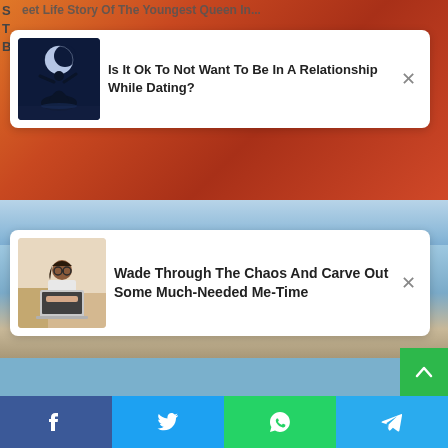[Figure (screenshot): Mobile web page screenshot showing two notification cards overlaid on background images, a large beach group photo, and a social share bar at the bottom with Facebook, Twitter, WhatsApp, and Telegram buttons]
Is It Ok To Not Want To Be In A Relationship While Dating?
Wade Through The Chaos And Carve Out Some Much-Needed Me-Time